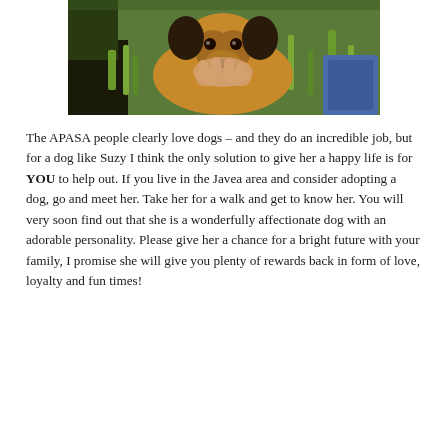[Figure (photo): Close-up photo of a brown and black dog (Suzy) lying in grass, with a human hand gently holding its chin. A blue collar/leash is visible.]
The APASA people clearly love dogs – and they do an incredible job, but for a dog like Suzy I think the only solution to give her a happy life is for YOU to help out. If you live in the Javea area and consider adopting a dog, go and meet her. Take her for a walk and get to know her. You will very soon find out that she is a wonderfully affectionate dog with an adorable personality. Please give her a chance for a bright future with your family, I promise she will give you plenty of rewards back in form of love, loyalty and fun times!